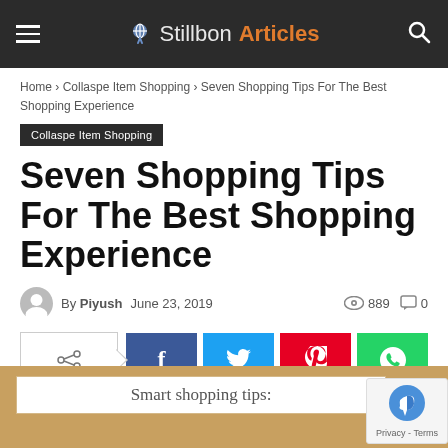Stillbon Articles
Home › Collaspe Item Shopping › Seven Shopping Tips For The Best Shopping Experience
Collaspe Item Shopping
Seven Shopping Tips For The Best Shopping Experience
By Piyush   June 23, 2019   889   0
[Figure (infographic): Social share buttons: share icon, Facebook, Twitter, Pinterest, WhatsApp]
[Figure (infographic): Bottom section with tan/gold background showing inner white box with text 'Smart shopping tips:' and a reCAPTCHA Privacy widget in bottom right]